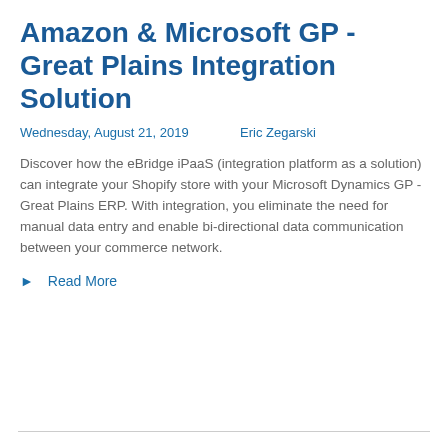Amazon & Microsoft GP - Great Plains Integration Solution
Wednesday, August 21, 2019    Eric Zegarski
Discover how the eBridge iPaaS (integration platform as a solution) can integrate your Shopify store with your Microsoft Dynamics GP - Great Plains ERP. With integration, you eliminate the need for manual data entry and enable bi-directional data communication between your commerce network.
▶  Read More